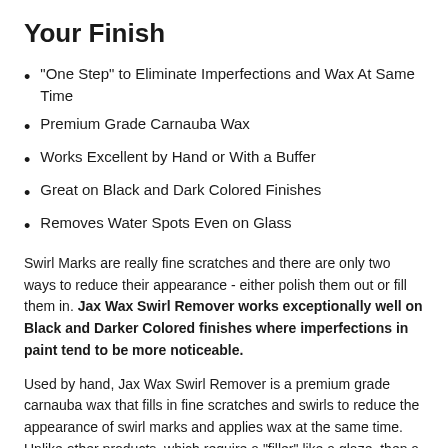Your Finish
"One Step" to Eliminate Imperfections and Wax At Same Time
Premium Grade Carnauba Wax
Works Excellent by Hand or With a Buffer
Great on Black and Dark Colored Finishes
Removes Water Spots Even on Glass
Swirl Marks are really fine scratches and there are only two ways to reduce their appearance - either polish them out or fill them in. Jax Wax Swirl Remover works exceptionally well on Black and Darker Colored finishes where imperfections in paint tend to be more noticeable.
Used by hand, Jax Wax Swirl Remover is a premium grade carnauba wax that fills in fine scratches and swirls to reduce the appearance of swirl marks and applies wax at the same time. Unlike other products, which require a "filler" like a glaze, then a wax application - Jax Wax Swirl Remover combines both steps into